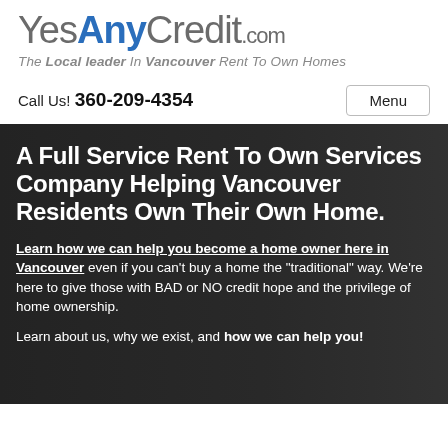YesAnyCredit.com
The Local leader In Vancouver Rent To Own Homes
Call Us! 360-209-4354
Menu
A Full Service Rent To Own Services Company Helping Vancouver Residents Own Their Own Home.
Learn how we can help you become a home owner here in Vancouver even if you can’t buy a home the “traditional” way. We’re here to give those with BAD or NO credit hope and the privilege of home ownership.
Learn about us, why we exist, and how we can help you!